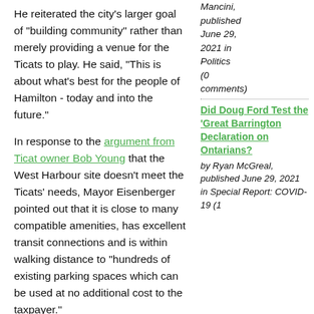He reiterated the city's larger goal of "building community" rather than merely providing a venue for the Ticats to play. He said, "This is about what's best for the people of Hamilton - today and into the future."
In response to the argument from Ticat owner Bob Young that the West Harbour site doesn't meet the Ticats' needs, Mayor Eisenberger pointed out that it is close to many compatible amenities, has excellent transit connections and is within walking distance to "hundreds of existing parking spaces which can be used at no additional cost to the taxpayer."
Mancini, published June 29, 2021 in Politics (0 comments)
Did Doug Ford Test the 'Great Barrington Declaration on Ontarians?
by Ryan McGreal, published June 29, 2021 in Special Report: COVID-19 (1